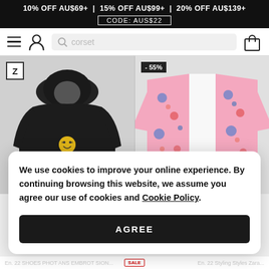10% OFF AU$69+ | 15% OFF AU$99+ | 20% OFF AU$139+ CODE: AUS$22
[Figure (screenshot): Navigation bar with hamburger menu, user icon, search bar with placeholder 'corset', and shopping bag icon]
[Figure (photo): Two product images side by side: left is a black hoodie with Z logo badge, right is a pink floral kimono jacket with -55% discount badge]
We use cookies to improve your online experience. By continuing browsing this website, we assume you agree our use of cookies and Cookie Policy.
AGREE